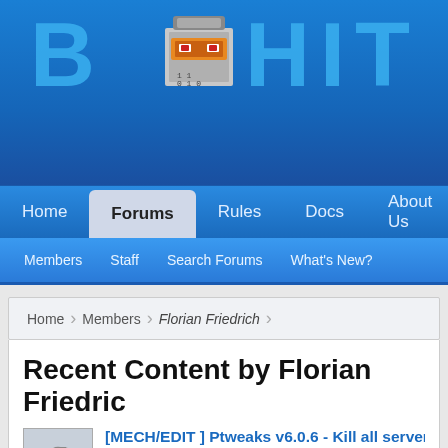[Figure (screenshot): BukkIT forum website header with pixel-art robot logo and blue gradient background showing large teal block letters]
Home  Forums  Rules  Docs  About Us  Get
Members  Staff  Search Forums  What's New?
Home > Members > Florian Friedrich
Recent Content by Florian Friedrich
[MECH/EDIT ] Ptweaks v6.0.6 - Kill all server Lag! [1.7...]
I think, that is because EVERYONE can use the command /ptml (as i sai...
Post by: Florian Friedrich, Oct 31, 2011 in forum: Archived: Plugin Releas...
[MECH/EDIT ] Ptweaks v6.0.6 - Kill all server Lag! [1.7...]
Do I recognize it right, that the /ptml command is available for every playe...
Post by: Florian Friedrich, Oct 25, 2011 in forum: Archived: Plugin Releas...